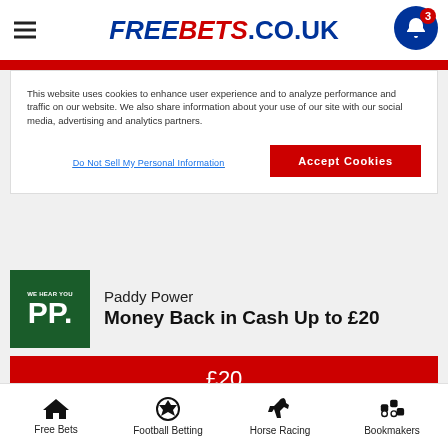FREEBETS.CO.UK
This website uses cookies to enhance user experience and to analyze performance and traffic on our website. We also share information about your use of our site with our social media, advertising and analytics partners.
Do Not Sell My Personal Information
Accept Cookies
[Figure (logo): Paddy Power PP logo — green background with 'WE HEAR YOU' text and large PP letters]
Paddy Power
Money Back in Cash Up to £20
£20
New customers only. Place your FIRST bet on any Sportsbook market and if it loses we will refund your stake in CASH. Max refund is £20. Only deposits made using Cards will qualify. £5 Bet Builder free bet will be available to claim from the promotions hub after the
Free Bets  Football Betting  Horse Racing  Bookmakers